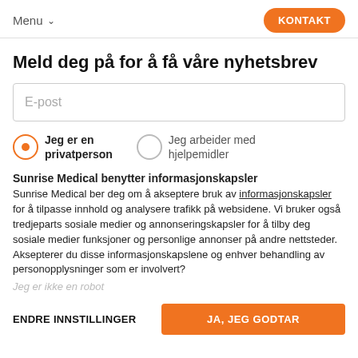Menu  KONTAKT
Meld deg på for å få våre nyhetsbrev
E-post
Jeg er en privatperson
Jeg arbeider med hjelpemidler
Sunrise Medical benytter informasjonskapsler
Sunrise Medical ber deg om å akseptere bruk av informasjonskapsler for å tilpasse innhold og analysere trafikk på websidene. Vi bruker også tredjeparts sosiale medier og annonseringskapsler for å tilby deg sosiale medier funksjoner og personlige annonser på andre nettsteder. Aksepterer du disse informasjonskapslene og enhver behandling av personopplysninger som er involvert?
Jeg er ikke en robot
ENDRE INNSTILLINGER   JA, JEG GODTAR